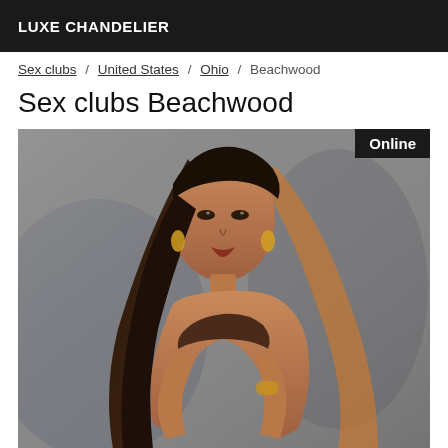LUXE CHANDELIER
Sex clubs / United States / Ohio / Beachwood
Sex clubs Beachwood
[Figure (photo): Woman with long dark hair wearing a dark bikini top, posing against a grey background. An 'Online' badge appears in the top-right corner of the image.]